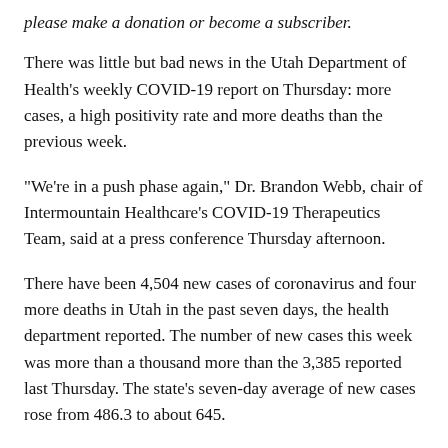please make a donation or become a subscriber.
There was little but bad news in the Utah Department of Health’s weekly COVID-19 report on Thursday: more cases, a high positivity rate and more deaths than the previous week.
“We’re in a push phase again,” Dr. Brandon Webb, chair of Intermountain Healthcare’s COVID-19 Therapeutics Team, said at a press conference Thursday afternoon.
There have been 4,504 new cases of coronavirus and four more deaths in Utah in the past seven days, the health department reported. The number of new cases this week was more than a thousand more than the 3,385 reported last Thursday. The state’s seven-day average of new cases rose from 486.3 to about 645.
State officials are turning less to new cases to track the spread of COVID-19 — and more to metrics like sewage testing, hospitalizations and emergency room visits — as fewer people get test. Over the past week, 18,027 people have been tested, a decrease of 3,385 tests from the previous week. The weekly rate of positive tests, however, rose